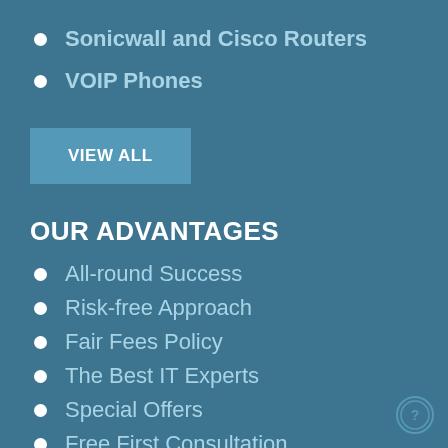Sonicwall and Cisco Routers
VOIP Phones
VIEW ALL
OUR ADVANTAGES
All-round Success
Risk-free Approach
Fair Fees Policy
The Best IT Experts
Special Offers
Free First Consultation